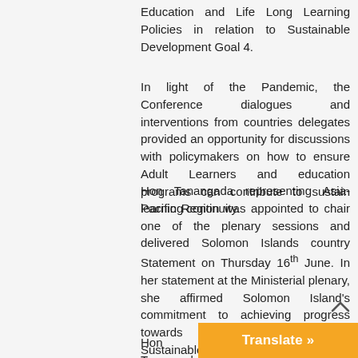Education and Life Long Learning Policies in relation to Sustainable Development Goal 4.
In light of the Pandemic, the Conference dialogues and interventions from countries delegates provided an opportunity for discussions with policymakers on how to ensure Adult Learners and education programs can contribute to sustain learning continuity.
Hon Tanangada representing Asia-Pacific Region was appointed to chair one of the plenary sessions and delivered Solomon Islands country Statement on Thursday 16th June. In her statement at the Ministerial plenary, she affirmed Solomon Island's commitment to achieving progress towards the achievement of Sustainable Development Goal 4, which is about attaining an inclusive quality education for Solomon Islanders. She further highlighted our country's goal and aspiration that all children in the Solomon Islands, regardless of physical, intellectual, social, emotional or linguistic abilities, learn and participate equally and effectively, in safety and free from gender bias.
Hon Tanangada is also expected to atte